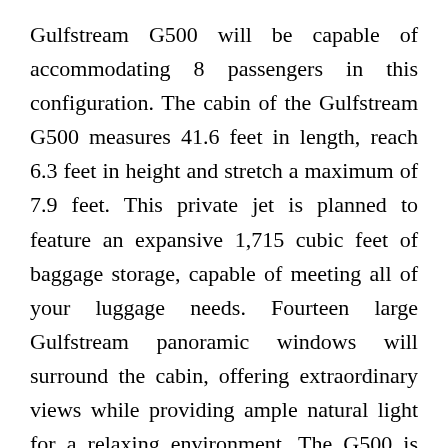Gulfstream G500 will be capable of accommodating 8 passengers in this configuration. The cabin of the Gulfstream G500 measures 41.6 feet in length, reach 6.3 feet in height and stretch a maximum of 7.9 feet. This private jet is planned to feature an expansive 1,715 cubic feet of baggage storage, capable of meeting all of your luggage needs. Fourteen large Gulfstream panoramic windows will surround the cabin, offering extraordinary views while providing ample natural light for a relaxing environment. The G500 is capable of best in class cabin pressurization which, combined with its 100